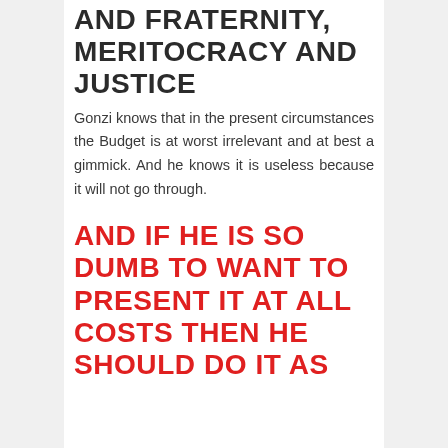AND FRATERNITY, MERITOCRACY AND JUSTICE
Gonzi knows that in the present circumstances the Budget is at worst irrelevant and at best a gimmick. And he knows it is useless because it will not go through.
AND IF HE IS SO DUMB TO WANT TO PRESENT IT AT ALL COSTS THEN HE SHOULD DO IT AS